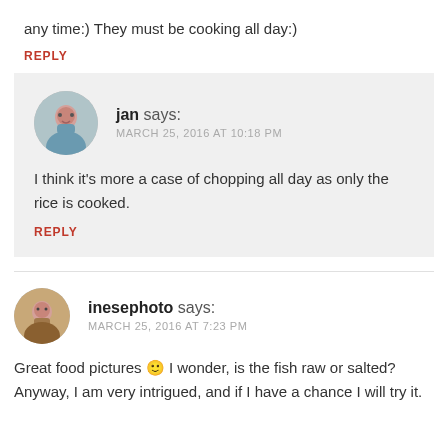any time:) They must be cooking all day:)
REPLY
jan says: MARCH 25, 2016 AT 10:18 PM
I think it's more a case of chopping all day as only the rice is cooked.
REPLY
inesephoto says: MARCH 25, 2016 AT 7:23 PM
Great food pictures 🙂 I wonder, is the fish raw or salted? Anyway, I am very intrigued, and if I have a chance I will try it.